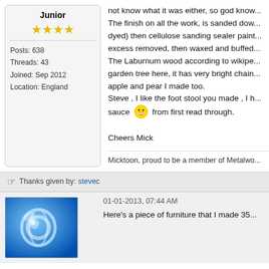Junior
★★★★
Posts: 638
Threads: 43
Joined: Sep 2012
Location: England
not know what it was either, so god kno... The finish on all the work, is sanded dow... dyed) then cellulose sanding sealer paint... excess removed, then waxed and buffed... The Laburnum wood according to wikipe... garden tree here, it has very bright chain... apple and pear I made too. Steve , I like the foot stool you made , I h... sauce [emoji] from first read through.

Cheers Mick
Micktoon, proud to be a member of Metalwo...
Thanks given by: stevec
01-01-2013, 07:44 AM
Here's a piece of furniture that I made 35...